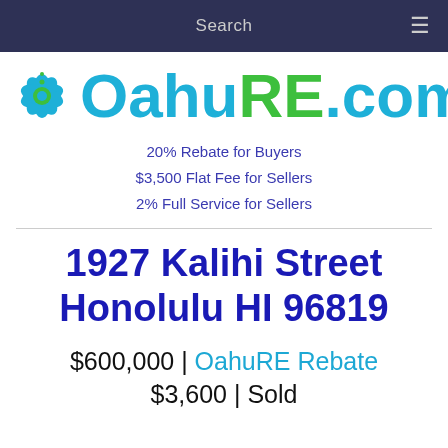Search
[Figure (logo): OahuRE.com logo with hibiscus flower icon, teal and green text]
20% Rebate for Buyers
$3,500 Flat Fee for Sellers
2% Full Service for Sellers
1927 Kalihi Street Honolulu HI 96819
$600,000 | OahuRE Rebate $3,600 | Sold